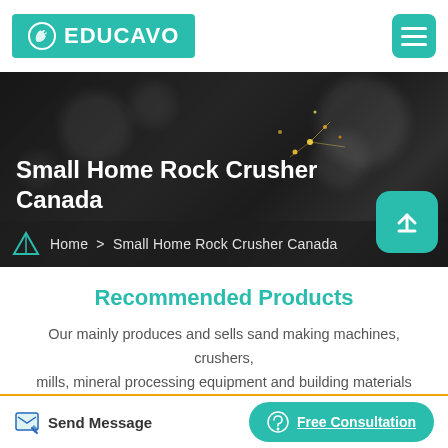EDUCAVO
[Figure (screenshot): Hero banner image of a worker with sparks, dark overlay, showing title 'Small Home Rock Crusher Canada' with breadcrumb navigation below]
Small Home Rock Crusher Canada
Home > Small Home Rock Crusher Canada
Recommended Products
Our mainly produces and sells sand making machines, crushers, mills, mineral processing equipment and building materials equipment. The models are complete and can be customized
Send Message
Free Consultation